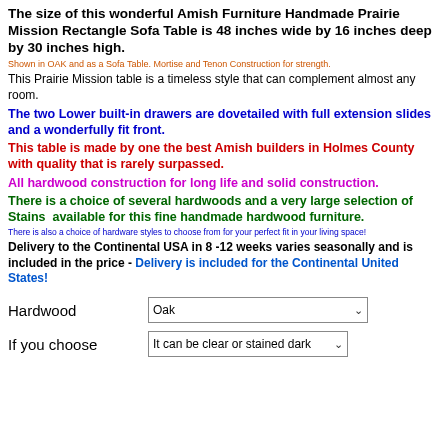The size of this wonderful Amish Furniture Handmade Prairie Mission Rectangle Sofa Table is 48 inches wide by 16 inches deep by 30 inches high.
Shown in OAK and as a Sofa Table. Mortise and Tenon Construction for strength.
This Prairie Mission table is a timeless style that can complement almost any room.
The two Lower built-in drawers are dovetailed with full extension slides and a wonderfully fit front.
This table is made by one the best Amish builders in Holmes County with quality that is rarely surpassed.
All hardwood construction for long life and solid construction.
There is a choice of several hardwoods and a very large selection of Stains  available for this fine handmade hardwood furniture.
There is also a choice of hardware styles to choose from for your perfect fit in your living space!
Delivery to the Continental USA in 8 -12 weeks varies seasonally and is included in the price - Delivery is included for the Continental United States!
Hardwood
Oak
If you choose
It can be clear or stained dark